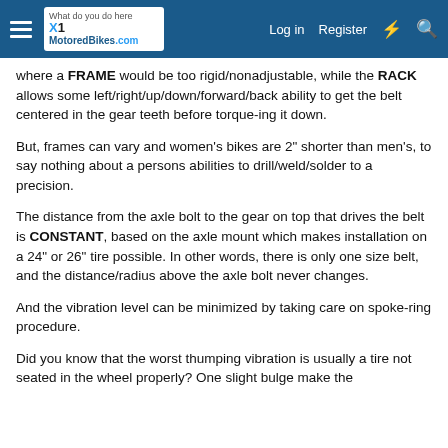MotoredBikes.com — Log in | Register
where a FRAME would be too rigid/nonadjustable, while the RACK allows some left/right/up/down/forward/back ability to get the belt centered in the gear teeth before torque-ing it down.
But, frames can vary and women's bikes are 2" shorter than men's, to say nothing about a persons abilities to drill/weld/solder to a precision.
The distance from the axle bolt to the gear on top that drives the belt is CONSTANT, based on the axle mount which makes installation on a 24" or 26" tire possible. In other words, there is only one size belt, and the distance/radius above the axle bolt never changes.
And the vibration level can be minimized by taking care on spoke-ring procedure.
Did you know that the worst thumping vibration is usually a tire not seated in the wheel properly? One slight bulge make the